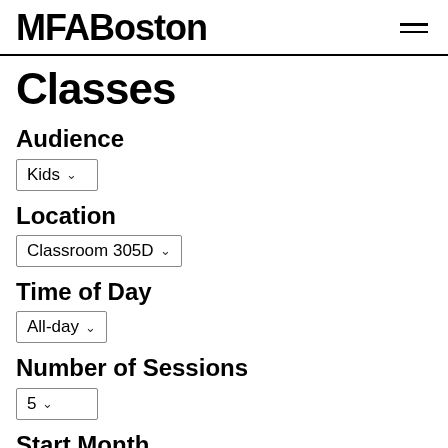MFABoston
Classes
Audience
Kids
Location
Classroom 305D
Time of Day
All-day
Number of Sessions
5
Start Month